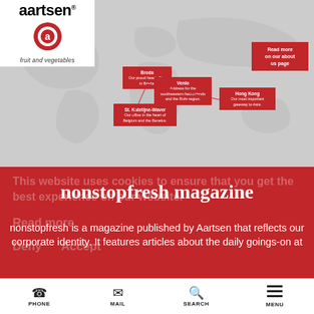[Figure (screenshot): Aartsen fruit and vegetables logo with red tomato/apple icon]
[Figure (map): World map showing office locations: Breda (head office), Venlo (southwestern Netherlands and Ruhr region), St. Katelijne-Waver (Belgium and the Netherlands), Hong Kong (gateway to Asia). Red 'Read more on our about us page' callout.]
nonstopfresh magazine
nonstopfresh is a magazine published by Aartsen that reflects our corporate identity. It features articles about the daily goings-on at
PHONE   MAIL   SEARCH   MENU